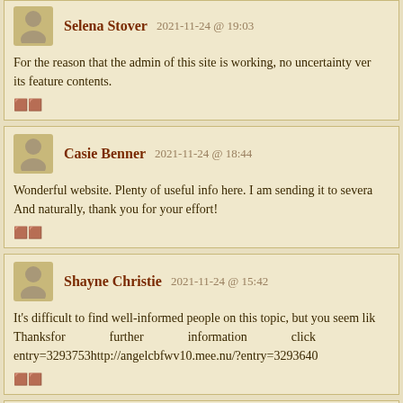Selena Stover   2021-11-24 @ 19:03
For the reason that the admin of this site is working, no uncertainty very its feature contents.
Casie Benner   2021-11-24 @ 18:44
Wonderful website. Plenty of useful info here. I am sending it to several And naturally, thank you for your effort!
Shayne Christie   2021-11-24 @ 15:42
It's difficult to find well-informed people on this topic, but you seem like Thanksfor further information click entry=3293753http://angelcbfwv10.mee.nu/?entry=3293640
Crystal Leach   2021-11-24 @ 12:20